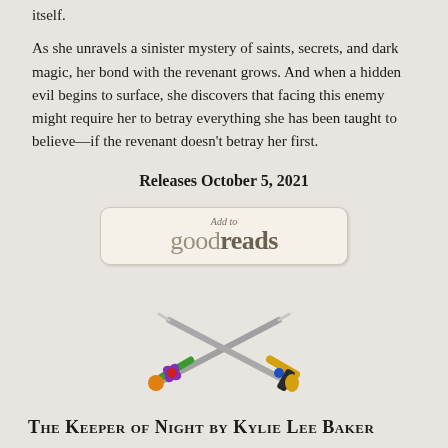itself.

As she unravels a sinister mystery of saints, secrets, and dark magic, her bond with the revenant grows. And when a hidden evil begins to surface, she discovers that facing this enemy might require her to betray everything she has been taught to believe—if the revenant doesn't betray her first.
Releases October 5, 2021
[Figure (logo): Goodreads 'Add to' button with logo text in muted beige/tan tones on a rounded rectangle background]
[Figure (illustration): Two crossed fantasy swords forming an X shape. Left sword has a purple and green crossguard with orange pommel. Right sword has a gold and blue crossguard. Both blades are silver/grey.]
The Keeper of Night by Kylie Lee Baker